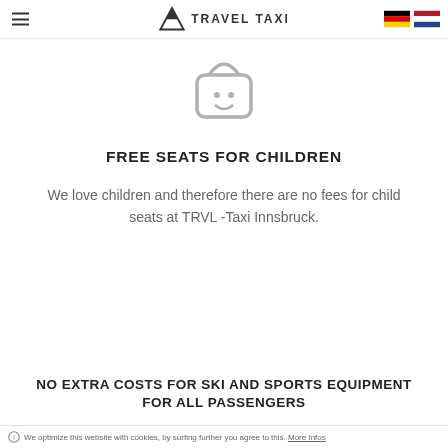TRAVEL TAXI (logo with flags)
[Figure (illustration): Child seat / baby seat icon rendered in light gray outline style]
FREE SEATS FOR CHILDREN
We love children and therefore there are no fees for child seats at TRVL -Taxi Innsbruck.
NO EXTRA COSTS FOR SKI AND SPORTS EQUIPMENT FOR ALL PASSENGERS
We optimize this website with cookies, by surfing further you agree to this. More Infos